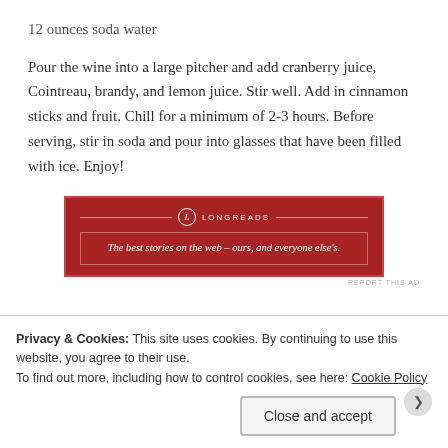12 ounces soda water
Pour the wine into a large pitcher and add cranberry juice, Cointreau, brandy, and lemon juice. Stir well. Add in cinnamon sticks and fruit. Chill for a minimum of 2-3 hours. Before serving, stir in soda and pour into glasses that have been filled with ice. Enjoy!
[Figure (other): Longreads advertisement banner: red background with white border, logo and tagline 'The best stories on the web – ours, and everyone else's.']
(ps. My big seesters wanted me to remind everyone to
Privacy & Cookies: This site uses cookies. By continuing to use this website, you agree to their use.
To find out more, including how to control cookies, see here: Cookie Policy
Close and accept